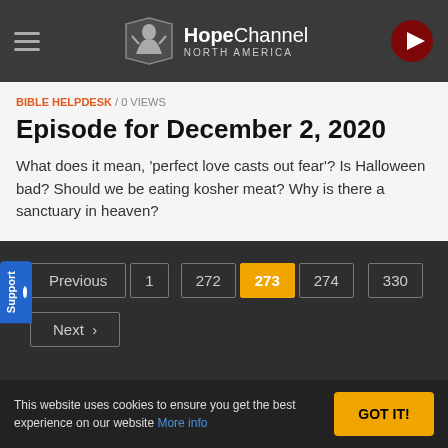HopeChannel NORTH AMERICA
BIBLE HELPDESK / 0 VIEWS
Episode for December 2, 2020
What does it mean, 'perfect love casts out fear'? Is Halloween bad? Should we be eating kosher meat? Why is there a sanctuary in heaven?
Previous 1 272 273 274 330 Next
This website uses cookies to ensure you get the best experience on our website More info GOT IT!